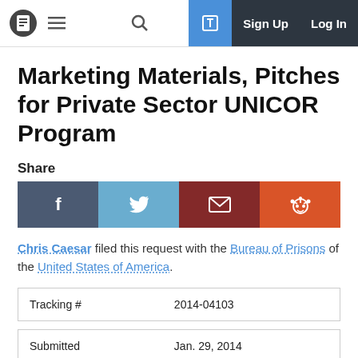Marketing Materials, Pitches for Private Sector UNICOR Program — navigation bar with Sign Up and Log In
Marketing Materials, Pitches for Private Sector UNICOR Program
Share
[Figure (infographic): Social share buttons: Facebook (dark blue-grey), Twitter (light blue), Email (dark red), Reddit (orange)]
Chris Caesar filed this request with the Bureau of Prisons of the United States of America.
| Tracking # | 2014-04103 |
| --- | --- |
| Submitted | Jan. 29, 2014 |
| --- | --- |
STATUS